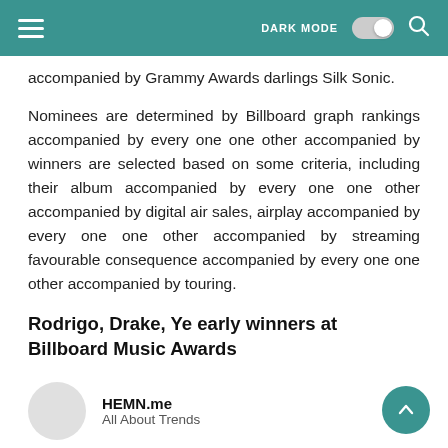DARK MODE [toggle] [search]
accompanied by Grammy Awards darlings Silk Sonic.
Nominees are determined by Billboard graph rankings accompanied by every one one other accompanied by winners are selected based on some criteria, including their album accompanied by every one one other accompanied by digital air sales, airplay accompanied by every one one other accompanied by streaming favourable consequence accompanied by every one one other accompanied by touring.
Rodrigo, Drake, Ye early winners at Billboard Music Awards
HEMN.me
All About Trends